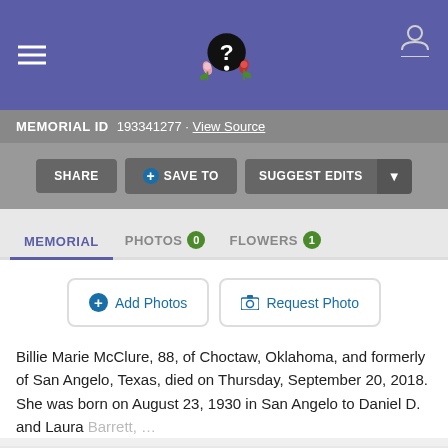FindAGrave memorial page header with logo and navigation
MEMORIAL ID  193341277 · View Source
SHARE  + SAVE TO  SUGGEST EDITS
MEMORIAL  PHOTOS 0  FLOWERS 1
+ Add Photos   Request Photo
Billie Marie McClure, 88, of Choctaw, Oklahoma, and formerly of San Angelo, Texas, died on Thursday, September 20, 2018. She was born on August 23, 1930 in San Angelo to Daniel D. and Laura Barrett, ...
Read More